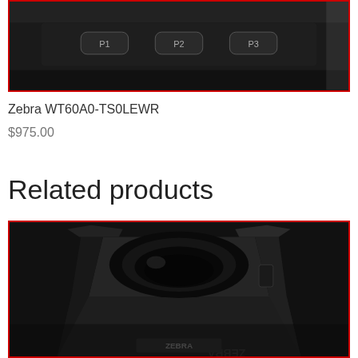[Figure (photo): Top portion of a Zebra WT60A0-TS0LEWR wearable terminal showing three buttons labeled P1, P2, P3, inside a red border]
Zebra WT60A0-TS0LEWR
$975.00
Related products
[Figure (photo): Close-up photo of a black Zebra charging cradle/dock, showing the device insert opening from a top-angle view, with Zebra branding partially visible at the bottom, inside a red border]